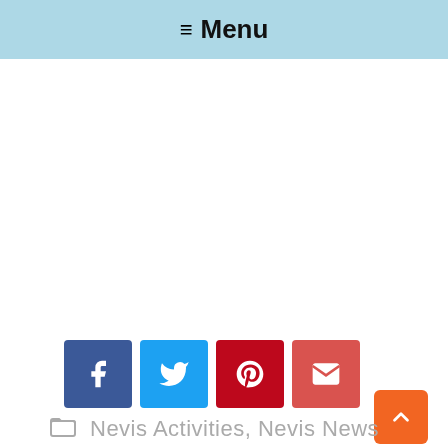☰ Menu
[Figure (infographic): Social share buttons: Facebook (blue), Twitter (light blue), Pinterest (red), Email (orange-red)]
Nevis Activities, Nevis News